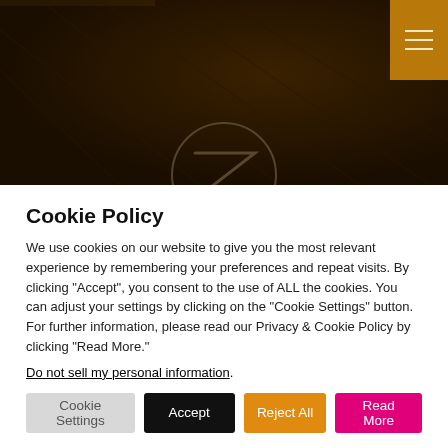[Figure (photo): Dark hero image with a golden/brown overlay showing draped fabric or similar texture. A circular logo outline (appears to be a stylized letter or emblem) is visible at the bottom center. A golden top bar is on the upper left and a golden hamburger menu button box is on the upper right.]
Cookie Policy
We use cookies on our website to give you the most relevant experience by remembering your preferences and repeat visits. By clicking “Accept”, you consent to the use of ALL the cookies. You can adjust your settings by clicking on the "Cookie Settings" button. For further information, please read our Privacy & Cookie Policy by clicking "Read More."
Do not sell my personal information.
Cookie Settings  Accept  Reject All  Read More